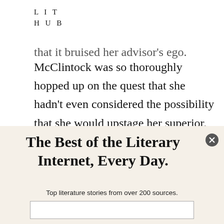LIT
HUB
that it bruised her advisor's ego. McClintock was so thoroughly hopped up on the quest that she hadn't even considered the possibility that she would upstage her superior. In other instances, her groundbreaking experiments required an interpreter. When she
The Best of the Literary Internet, Every Day.
Top literature stories from over 200 sources.